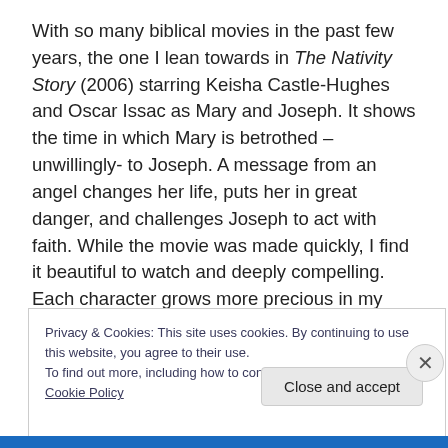With so many biblical movies in the past few years, the one I lean towards in The Nativity Story (2006) starring Keisha Castle-Hughes and Oscar Issac as Mary and Joseph. It shows the time in which Mary is betrothed – unwillingly- to Joseph. A message from an angel changes her life, puts her in great danger, and challenges Joseph to act with faith. While the movie was made quickly, I find it beautiful to watch and deeply compelling. Each character grows more precious in my eyes as I come to understand their bravery, knowledge, and wisdom.
Privacy & Cookies: This site uses cookies. By continuing to use this website, you agree to their use.
To find out more, including how to control cookies, see here: Cookie Policy